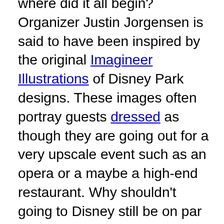where did it all begin? Organizer Justin Jorgensen is said to have been inspired by the original Imagineer Illustrations of Disney Park designs. These images often portray guests dressed as though they are going out for a very upscale event such as an opera or a maybe a high-end restaurant. Why shouldn't going to Disney still be on par with such grand affairs? Well, that is what Dapper Day is all about. It is a chance to realize those designer's dreams. On Dapper Day, you bring those illustrations to life when you become those well dressed guests the designers imagined (or hoped) would be filling the park.
Started spring of 2011, Dapper Day organizes fashionable gatherings at The Disney Resorts in LA, Orlando, and Paris. February 24, 2013 was the date of the latest event.
The coming celebration is expected to be an "evening